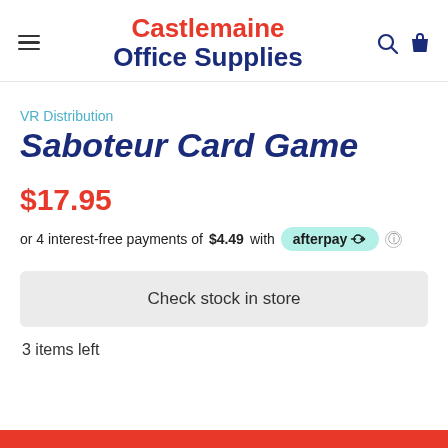Castlemaine Office Supplies
VR Distribution
Saboteur Card Game
$17.95
or 4 interest-free payments of $4.49 with afterpay
Check stock in store
3 items left